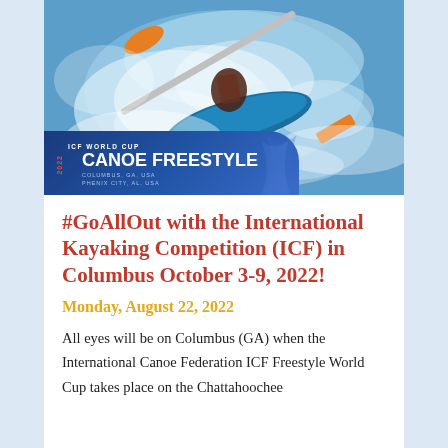[Figure (photo): Action photo of a kayaker paddling through whitewater rapids with a blue kayak and orange paddle (Werner brand), with an ICF World Cup Canoe Freestyle 2022 event banner overlay showing Columbus, GA, USA and Phenix City, AL, USA]
#GoAllOut with the International Kayaking Competition (ICF) in Columbus October 3-9, 2022!
Monday, August 22, 2022
All eyes will be on Columbus (GA) when the International Canoe Federation ICF Freestyle World Cup takes place on the Chattahoochee